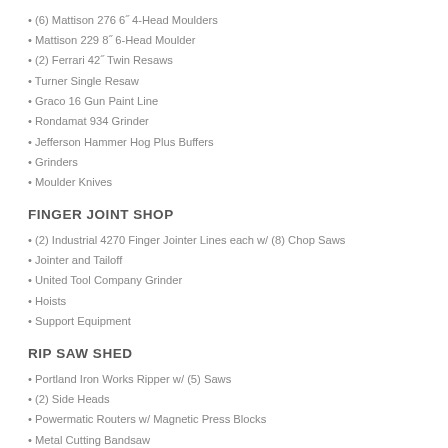(6) Mattison 276 6" 4-Head Moulders
Mattison 229 8" 6-Head Moulder
(2) Ferrari 42" Twin Resaws
Turner Single Resaw
Graco 16 Gun Paint Line
Rondamat 934 Grinder
Jefferson Hammer Hog Plus Buffers
Grinders
Moulder Knives
FINGER JOINT SHOP
(2) Industrial 4270 Finger Jointer Lines each w/ (8) Chop Saws
Jointer and Tailoff
United Tool Company Grinder
Hoists
Support Equipment
RIP SAW SHED
Portland Iron Works Ripper w/ (5) Saws
(2) Side Heads
Powermatic Routers w/ Magnetic Press Blocks
Metal Cutting Bandsaw
Millermatic 135 Wire Welder
Shop Lathe